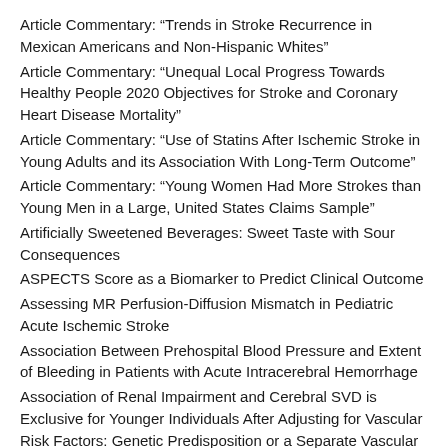Article Commentary: “Trends in Stroke Recurrence in Mexican Americans and Non-Hispanic Whites”
Article Commentary: “Unequal Local Progress Towards Healthy People 2020 Objectives for Stroke and Coronary Heart Disease Mortality”
Article Commentary: “Use of Statins After Ischemic Stroke in Young Adults and its Association With Long-Term Outcome”
Article Commentary: “Young Women Had More Strokes than Young Men in a Large, United States Claims Sample”
Artificially Sweetened Beverages: Sweet Taste with Sour Consequences
ASPECTS Score as a Biomarker to Predict Clinical Outcome
Assessing MR Perfusion-Diffusion Mismatch in Pediatric Acute Ischemic Stroke
Association Between Prehospital Blood Pressure and Extent of Bleeding in Patients with Acute Intracerebral Hemorrhage
Association of Renal Impairment and Cerebral SVD is Exclusive for Younger Individuals After Adjusting for Vascular Risk Factors: Genetic Predisposition or a Separate Vascular Entity?
Atrial Thromboembolism: Looking Beyond Atrial Fibrillation
Author Interview: Colin Derdeyn, MD
Author Interview: Dr. Bruce Campbell, on the EXTEND-IA TNK trial
Author Interview: Dr. Bruce Ovbiagele on “HEADS-UP: Understanding and Problem-Solving: Seeking Hands-Down Solutions to Major Inequities in Stroke”